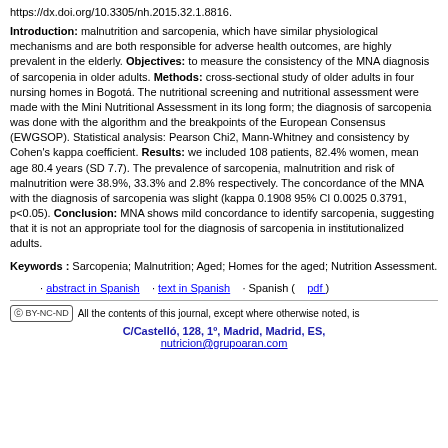https://dx.doi.org/10.3305/nh.2015.32.1.8816.
Introduction: malnutrition and sarcopenia, which have similar physiological mechanisms and are both responsible for adverse health outcomes, are highly prevalent in the elderly. Objectives: to measure the consistency of the MNA diagnosis of sarcopenia in older adults. Methods: cross-sectional study of older adults in four nursing homes in Bogotá. The nutritional screening and nutritional assessment were made with the Mini Nutritional Assessment in its long form; the diagnosis of sarcopenia was done with the algorithm and the breakpoints of the European Consensus (EWGSOP). Statistical analysis: Pearson Chi2, Mann-Whitney and consistency by Cohen's kappa coefficient. Results: we included 108 patients, 82.4% women, mean age 80.4 years (SD 7.7). The prevalence of sarcopenia, malnutrition and risk of malnutrition were 38.9%, 33.3% and 2.8% respectively. The concordance of the MNA with the diagnosis of sarcopenia was slight (kappa 0.1908 95% CI 0.0025 0.3791, p<0.05). Conclusion: MNA shows mild concordance to identify sarcopenia, suggesting that it is not an appropriate tool for the diagnosis of sarcopenia in institutionalized adults.
Keywords : Sarcopenia; Malnutrition; Aged; Homes for the aged; Nutrition Assessment.
· abstract in Spanish   · text in Spanish   · Spanish (   pdf  )
All the contents of this journal, except where otherwise noted, is
C/Castelló, 128, 1º, Madrid, Madrid, ES,
nutricion@grupoaran.com